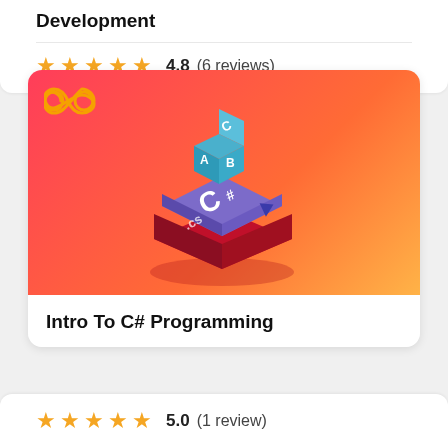Development
4.8 (6 reviews)
[Figure (illustration): Course card thumbnail with red-to-orange gradient background, infinity loop logo in top-left corner, and a 3D illustration of a C# programming file with a cube showing letters A, B, C floating above it]
Intro To C# Programming
5.0 (1 review)